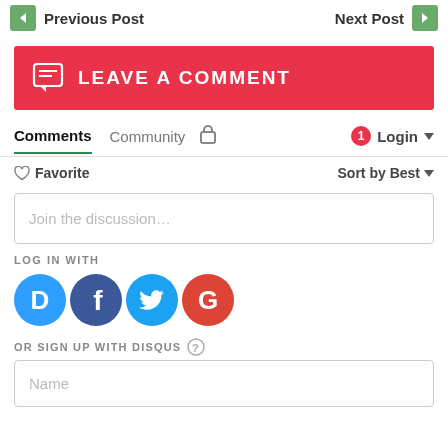Previous Post   Next Post
LEAVE A COMMENT
Comments  Community  Login  Sort by Best
Favorite  Sort by Best
Join the discussion...
LOG IN WITH
[Figure (other): Social login icons: Disqus (blue D), Facebook (dark blue f), Twitter (light blue bird), Google (red G)]
OR SIGN UP WITH DISQUS
Name